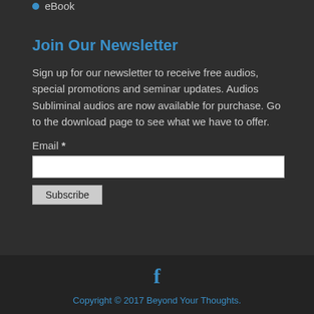eBook
Join Our Newsletter
Sign up for our newsletter to receive free audios, special promotions and seminar updates. Audios Subliminal audios are now available for purchase. Go to the download page to see what we have to offer.
Email *
Copyright © 2017 Beyond Your Thoughts.